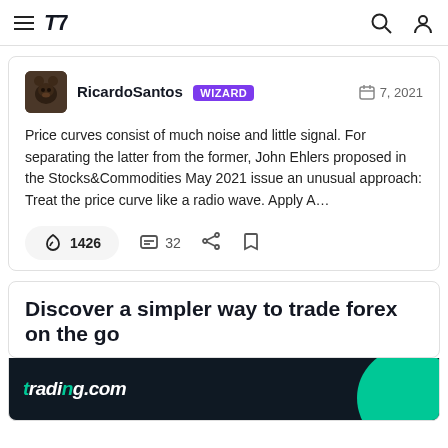TradingView navigation bar with hamburger menu, TV logo, search and user icons
RicardoSantos WIZARD  7, 2021
Price curves consist of much noise and little signal. For separating the latter from the former, John Ehlers proposed in the Stocks&Commodities May 2021 issue an unusual approach: Treat the price curve like a radio wave. Apply A…
1426  32
Discover a simpler way to trade forex on the go
[Figure (screenshot): trading.com logo on dark background with green circle graphic]